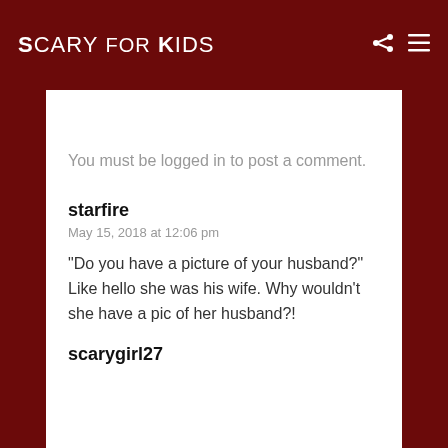SCARY FOR KIDS
You must be logged in to post a comment.
starfire
May 15, 2018 at 12:06 pm
“Do you have a picture of your husband?” Like hello she was his wife. Why wouldn’t she have a pic of her husband?!
scarygirl27